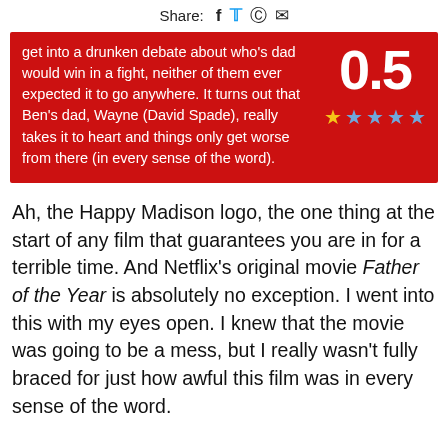Share: f 🐦 © ✉
get into a drunken debate about who's dad would win in a fight, neither of them ever expected it to go anywhere. It turns out that Ben's dad, Wayne (David Spade), really takes it to heart and things only get worse from there (in every sense of the word). Rating: 0.5 out of 5 stars
Ah, the Happy Madison logo, the one thing at the start of any film that guarantees you are in for a terrible time. And Netflix's original movie Father of the Year is absolutely no exception. I went into this with my eyes open. I knew that the movie was going to be a mess, but I really wasn't fully braced for just how awful this film was in every sense of the word.